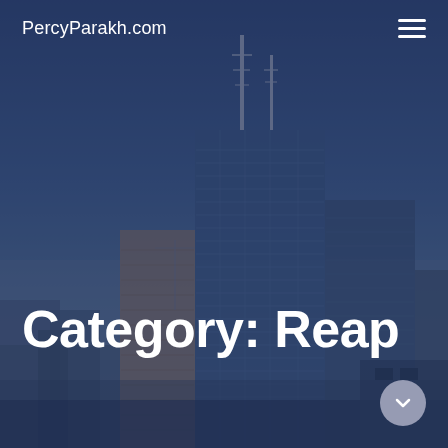[Figure (photo): City skyline at dusk with tall buildings and communication towers against a blue-grey sky, overlaid with dark navy blue tint]
PercyParakh.com
Category: Reap